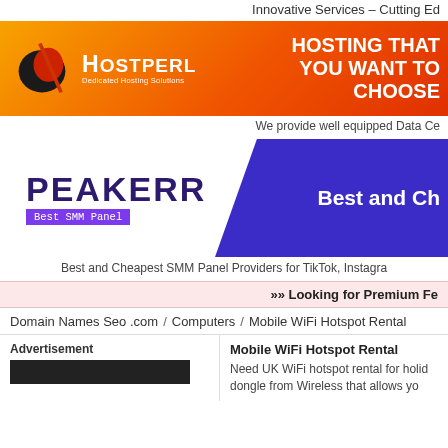Innovative Services – Cutting Ed
[Figure (illustration): HostPerl dedicated hosting solutions banner with orange gradient background, logo and 'HOSTING THAT YOU WANT TO CHOOSE' slogan]
We provide well equipped Data Ce
[Figure (illustration): Peakerr Best SMM Panel banner with purple background showing 'Best and Ch...' slogan]
Best and Cheapest SMM Panel Providers for TikTok, Instagra
»» Looking for Premium Fe
Domain Names Seo .com / Computers / Mobile WiFi Hotspot Rental
Advertisement
Mobile WiFi Hotspot Rental
Need UK WiFi hotspot rental for holid dongle from Wireless that allows yo